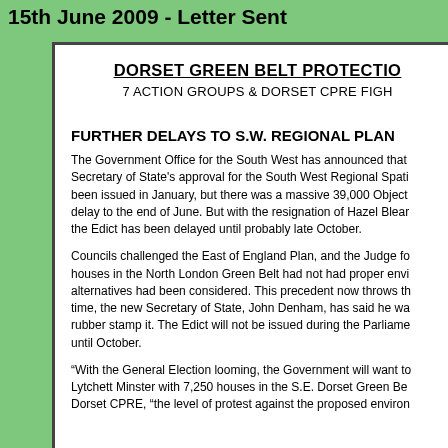15th June 2009 - Letter Sent
DORSET GREEN BELT PROTECTION
7 ACTION GROUPS & DORSET CPRE FIGH
FURTHER DELAYS TO S.W. REGIONAL PLAN
The Government Office for the South West has announced that the Secretary of State's approval for the South West Regional Spatial been issued in January, but there was a massive 39,000 Object delay to the end of June. But with the resignation of Hazel Blear the Edict has been delayed until probably late October.
Councils challenged the East of England Plan, and the Judge fo houses in the North London Green Belt had not had proper envi alternatives had been considered. This precedent now throws t time, the new Secretary of State, John Denham, has said he wa rubber stamp it. The Edict will not be issued during the Parliame until October.
“With the General Election looming, the Government will want to Lytchett Minster with 7,250 houses in the S.E. Dorset Green Be Dorset CPRE, “the level of protest against the proposed environ